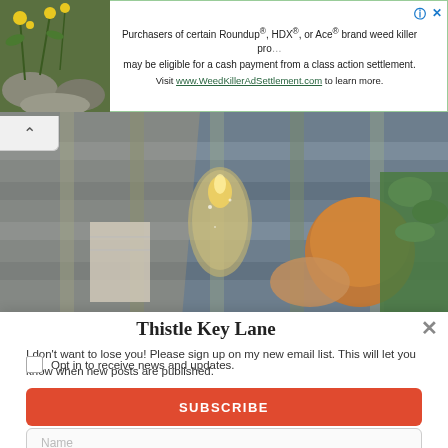[Figure (screenshot): Advertisement banner for WeedKillerAdSettlement.com with plant image on left and text on right]
Purchasers of certain Roundup®, HDX®, or Ace® brand weed killer products may be eligible for a cash payment from a class action settlement. Visit www.WeedKillerAdSettlement.com to learn more.
[Figure (photo): Close-up photo of autumn scene with plaid blanket, candle in glass holder, and green herbs or plants]
Thistle Key Lane
I don't want to lose you! Please sign up on my new email list. This will let you know when new posts are published.
Email
Name
Opt in to receive news and updates.
SUBSCRIBE